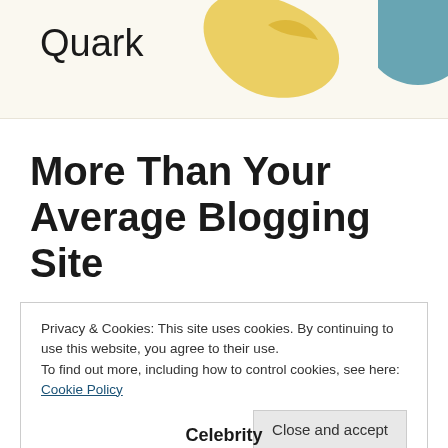[Figure (logo): Header banner with 'Quark' text logo on cream background, decorative bird/leaf shape in yellow and a partial teal circle on the right]
More Than Your Average Blogging Site
Privacy & Cookies: This site uses cookies. By continuing to use this website, you agree to their use.
To find out more, including how to control cookies, see here: Cookie Policy
[Close and accept]
Celebrity